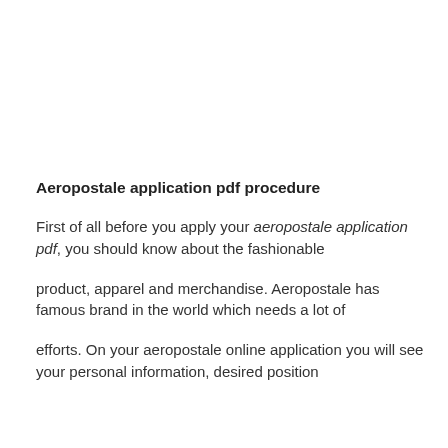Aeropostale application pdf procedure
First of all before you apply your aeropostale application pdf, you should know about the fashionable
product, apparel and merchandise. Aeropostale has famous brand in the world which needs a lot of
efforts. On your aeropostale online application you will see your personal information, desired position